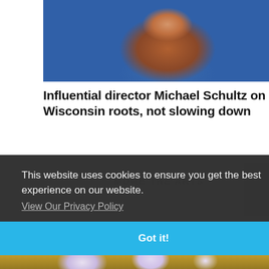[Figure (photo): Portrait photo of Michael Schultz, an older Black man with gray beard, wearing a blue shirt, with colorful flowers in the background]
Influential director Michael Schultz on Wisconsin roots, not slowing down
This website uses cookies to ensure you get the best experience on our website.
View Our Privacy Policy
Got it!
[Figure (illustration): Bottom strip showing illustrated characters in light purple/lavender tones against a dark background]